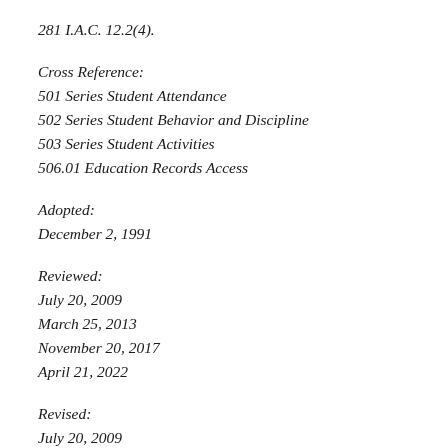281 I.A.C. 12.2(4).
Cross Reference:
501 Series Student Attendance
502 Series Student Behavior and Discipline
503 Series Student Activities
506.01 Education Records Access
Adopted:
December 2, 1991
Reviewed:
July 20, 2009
March 25, 2013
November 20, 2017
April 21, 2022
Revised:
July 20, 2009